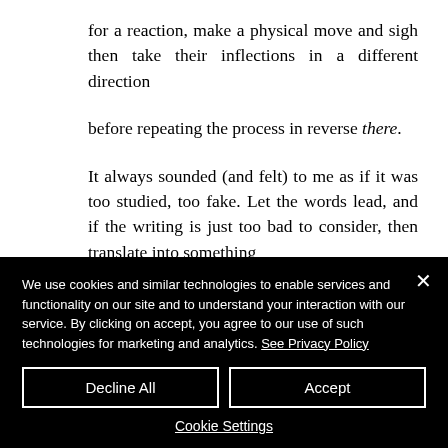for a reaction, make a physical move and sigh then take their inflections in a different direction
before repeating the process in reverse there.
It always sounded (and felt) to me as if it was too studied, too fake. Let the words lead, and if the writing is just too bad to consider, then translate into something which works for you then translate it back
We use cookies and similar technologies to enable services and functionality on our site and to understand your interaction with our service. By clicking on accept, you agree to our use of such technologies for marketing and analytics. See Privacy Policy